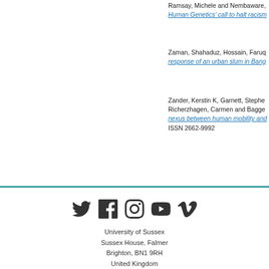Ramsay, Michele and Nembaware, ... Human Genetics' call to halt racism...
Zaman, Shahaduz, Hossain, Faruq... response of an urban slum in Bang...
Zander, Kerstin K, Garnett, Stephen... Richerzhagen, Carmen and Bagge... nexus between human mobility and... ISSN 2662-9992
[Figure (other): Social media icons: Twitter, Facebook, Instagram, YouTube, Vimeo]
University of Sussex
Sussex House, Falmer
Brighton, BN1 9RH
United Kingdom
Course and application enquiries:
+44 (0)1273 876787
study@sussex.ac.uk